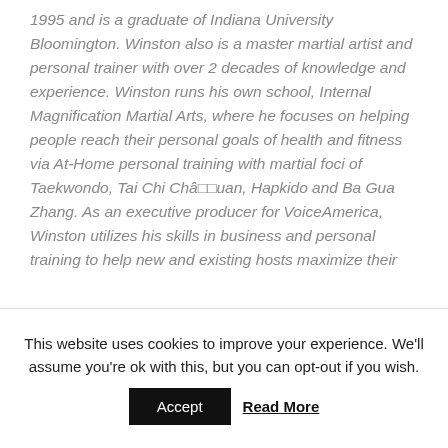1995 and is a graduate of Indiana University Bloomington. Winston also is a master martial artist and personal trainer with over 2 decades of knowledge and experience. Winston runs his own school, Internal Magnification Martial Arts, where he focuses on helping people reach their personal goals of health and fitness via At-Home personal training with martial foci of Taekwondo, Tai Chi Châ€‌quan, Hapkido and Ba Gua Zhang. As an executive producer for VoiceAmerica, Winston utilizes his skills in business and personal training to help new and existing hosts maximize their
This website uses cookies to improve your experience. We'll assume you're ok with this, but you can opt-out if you wish.
Accept  Read More